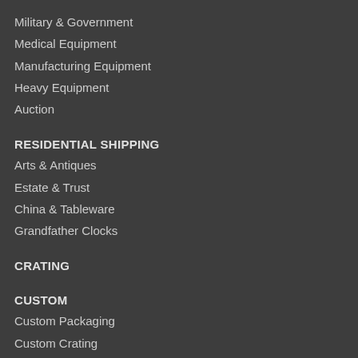Military & Government
Medical Equipment
Manufacturing Equipment
Heavy Equipment
Auction
RESIDENTIAL SHIPPING
Arts & Antiques
Estate & Trust
China & Tableware
Grandfather Clocks
CRATING
CUSTOM
Custom Packaging
Custom Crating
Custom Pallets & Skids